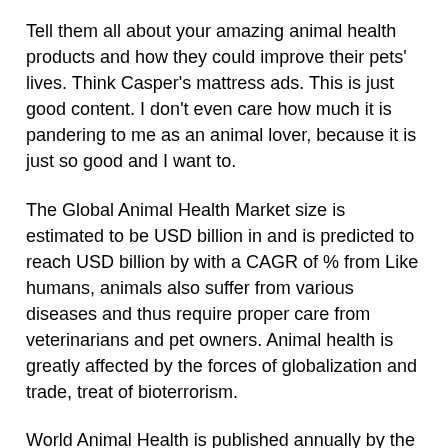Tell them all about your amazing animal health products and how they could improve their pets’ lives. Think Casper’s mattress ads. This is just good content. I don’t even care how much it is pandering to me as an animal lover, because it is just so good and I want to.
The Global Animal Health Market size is estimated to be USD billion in and is predicted to reach USD billion by with a CAGR of % from Like humans, animals also suffer from various diseases and thus require proper care from veterinarians and pet owners. Animal health is greatly affected by the forces of globalization and trade, treat of bioterrorism.
World Animal Health is published annually by the World Organization for Animal Health (formerly the Office International des Epizooties [OIE]) in English, French, and Spanish.
The OIE internet site,describes their publication by saying “World Animal Health presents a synthesis of animal health information from almost countries/territories and provides a unique tool for